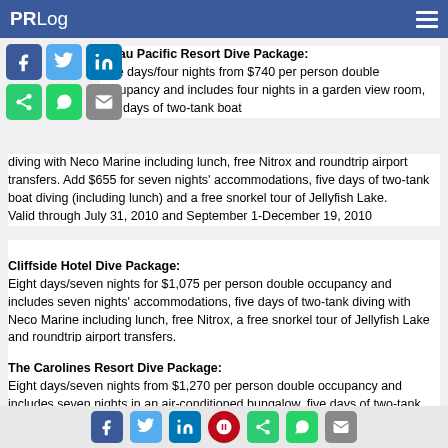PRLog
Palau Pacific Resort Dive Package:
Five days/four nights from $740 per person double occupancy and includes four nights in a garden view room, two days of two-tank boat diving with Neco Marine including lunch, free Nitrox and roundtrip airport transfers. Add $655 for seven nights' accommodations, five days of two-tank boat diving (including lunch) and a free snorkel tour of Jellyfish Lake.
Valid through July 31, 2010 and September 1-December 19, 2010
Cliffside Hotel Dive Package:
Eight days/seven nights for $1,075 per person double occupancy and includes seven nights' accommodations, five days of two-tank diving with Neco Marine including lunch, free Nitrox, a free snorkel tour of Jellyfish Lake and roundtrip airport transfers.
Valid through December 31, 2010
The Carolines Resort Dive Package:
Eight days/seven nights from $1,270 per person double occupancy and includes seven nights in an air-conditioned bungalow, five days of two-tank boat dives with Fish 'N Fins including lunch, breakfast daily, use of beach and facilities at Palau Pacific Resort